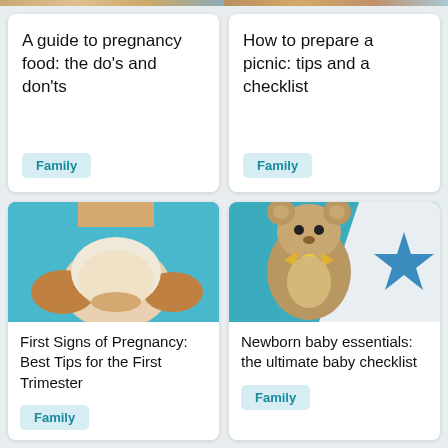[Figure (photo): Partial photo strip at top left showing colorful image]
[Figure (photo): Partial photo strip at top right showing colorful image]
A guide to pregnancy food: the do's and don'ts
Family
How to prepare a picnic: tips and a checklist
Family
[Figure (photo): Pregnant woman holding belly, wearing white top and brown sweater, teal background]
First Signs of Pregnancy: Best Tips for the First Trimester
Family
[Figure (photo): Teddy bear with yellow bow tie next to white fabric with blue star pattern]
Newborn baby essentials: the ultimate baby checklist
Family